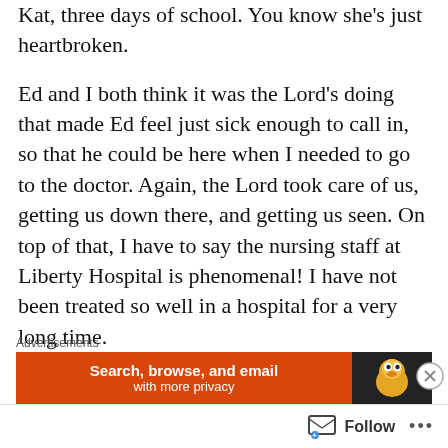Kat, three days of school. You know she's just heartbroken.
Ed and I both think it was the Lord's doing that made Ed feel just sick enough to call in, so that he could be here when I needed to go to the doctor. Again, the Lord took care of us, getting us down there, and getting us seen. On top of that, I have to say the nursing staff at Liberty Hospital is phenomenal! I have not been treated so well in a hospital for a very long time.
Now, I just have to get better so I can catch up
[Figure (screenshot): Advertisement banner: 'Advertisements' label above an orange DuckDuckGo ad banner reading 'Search, browse, and email with more privacy' with DuckDuckGo duck logo on dark background. Close (X) button on right side.]
Follow ...